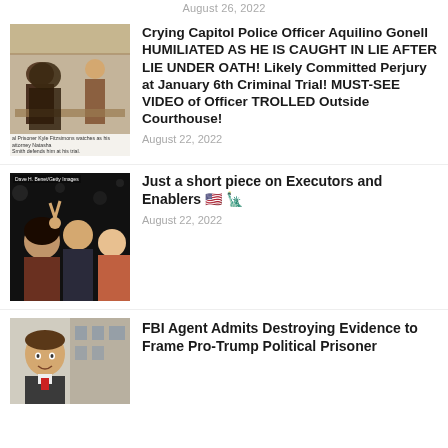August 26, 2022
[Figure (photo): Courtroom sketch showing Prisoner Kyle Fitzsimons watching as his attorney Natasha Smith defends him at his trial.]
Crying Capitol Police Officer Aquilino Gonell HUMILIATED AS HE IS CAUGHT IN LIE AFTER LIE UNDER OATH! Likely Committed Perjury at January 6th Criminal Trial! MUST-SEE VIDEO of Officer TROLLED Outside Courthouse!
August 22, 2022
[Figure (photo): Photo of people at an event, with credit to Dave H. Benet/Getty Images.]
Just a short piece on Executors and Enablers 🇺🇸 🗽
August 22, 2022
[Figure (photo): Photo of a man outdoors in front of a building.]
FBI Agent Admits Destroying Evidence to Frame Pro-Trump Political Prisoner